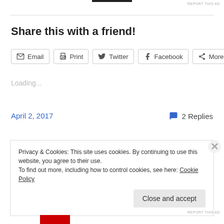REPORT THIS AD
Share this with a friend!
[Figure (other): Share buttons: Email, Print, Twitter, Facebook, More]
Loading...
April 2, 2017
2 Replies
Privacy & Cookies: This site uses cookies. By continuing to use this website, you agree to their use.
To find out more, including how to control cookies, see here: Cookie Policy
Close and accept
REPORT THIS AD